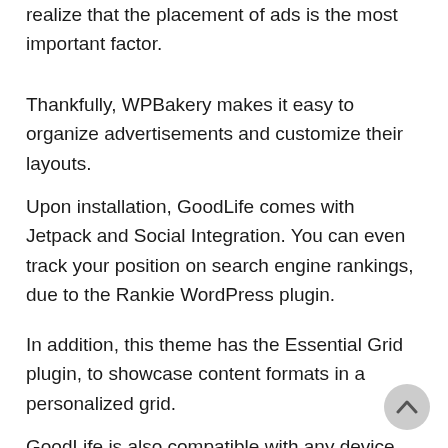realize that the placement of ads is the most important factor.
Thankfully, WPBakery makes it easy to organize advertisements and customize their layouts.
Upon installation, GoodLife comes with Jetpack and Social Integration. You can even track your position on search engine rankings, due to the Rankie WordPress plugin.
In addition, this theme has the Essential Grid plugin, to showcase content formats in a personalized grid.
GoodLife is also compatible with any device, regardless of its screen size. Be sure to access the theme, as from more information, the